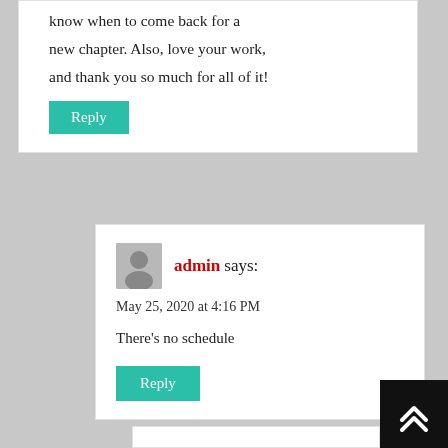know when to come back for a new chapter. Also, love your work, and thank you so much for all of it!
Reply
admin says:
May 25, 2020 at 4:16 PM
There's no schedule
Reply